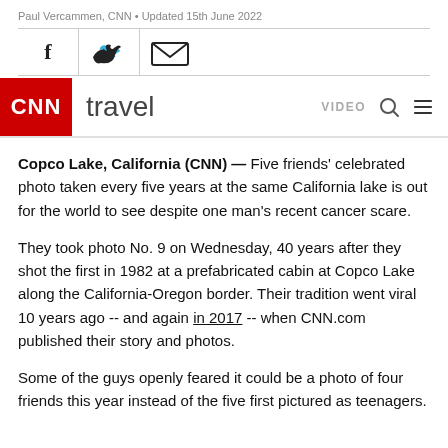Paul Vercammen, CNN • Updated 15th June 2022
[Figure (infographic): Social sharing icons: Facebook (f), Twitter (bird), Email (envelope), arranged in a horizontal bar with vertical dividers]
[Figure (logo): CNN Travel navigation bar with red CNN logo box, 'travel' text in light weight font, and VIDEO, search, and hamburger menu icons on the right]
Copco Lake, California (CNN) — Five friends' celebrated photo taken every five years at the same California lake is out for the world to see despite one man's recent cancer scare.
They took photo No. 9 on Wednesday, 40 years after they shot the first in 1982 at a prefabricated cabin at Copco Lake along the California-Oregon border. Their tradition went viral 10 years ago -- and again in 2017 -- when CNN.com published their story and photos.
Some of the guys openly feared it could be a photo of four friends this year instead of the five first pictured as teenagers.